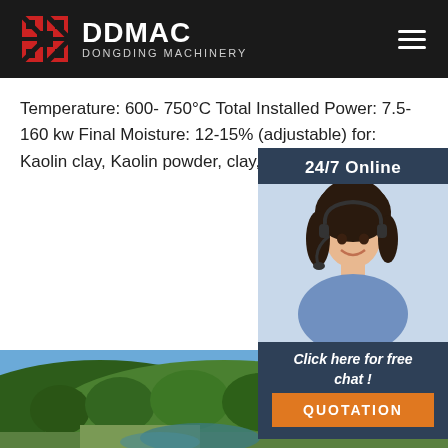[Figure (logo): DDMAC Dongding Machinery logo with red geometric icon and white text on dark background, with hamburger menu icon]
Temperature: 600- 750°C Total Installed Power: 7.5-160 kw Final Moisture: 12-15% (adjustable) for: Kaolin clay, Kaolin powder, clay, coal, m
[Figure (photo): Customer service representative with headset, smiling, with '24/7 Online' header, 'Click here for free chat!' and 'QUOTATION' button on dark blue sidebar widget]
[Figure (photo): Outdoor landscape photo showing green forested hillside with mining/quarry area visible at bottom]
Get Price